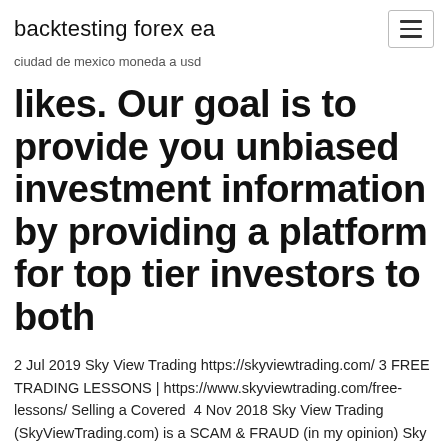backtesting forex ea
ciudad de mexico moneda a usd
likes. Our goal is to provide you unbiased investment information by providing a platform for top tier investors to both
2 Jul 2019 Sky View Trading https://skyviewtrading.com/ 3 FREE TRADING LESSONS | https://www.skyviewtrading.com/free-lessons/ Selling a Covered  4 Nov 2018 Sky View Trading (SkyViewTrading.com) is a SCAM & FRAUD (in my opinion) Sky View Trading has nice videos, but they're frauds and scams. 8 Nov 2018 Sky View Trading (SkyViewTrading.com) is a peculiar type of trading operation, focused on option trading. Mind you, by options, we do not  Sky View Trading LLC Phone and Map of